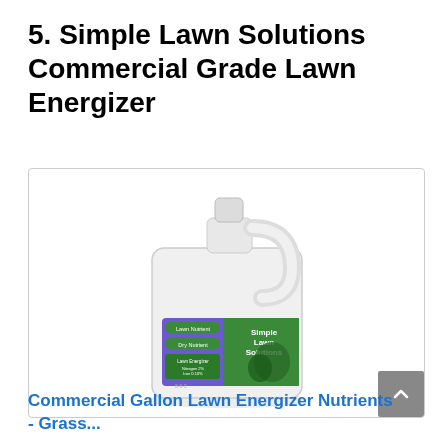5. Simple Lawn Solutions Commercial Grade Lawn Energizer
[Figure (photo): White gallon jug of Simple Lawn Solutions Lawn Energizer product with green and purple label showing brand name and product details]
Commercial Gallon Lawn Energizer Nutrients - Grass...